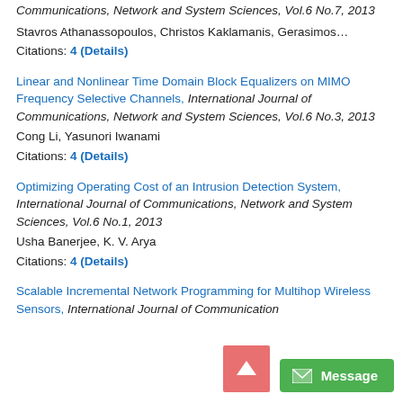Communications, Network and System Sciences, Vol.6 No.7, 2013
Stavros Athanassopoulos, Christos Kaklamanis, Gerasimos…
Citations: 4 (Details)
Linear and Nonlinear Time Domain Block Equalizers on MIMO Frequency Selective Channels, International Journal of Communications, Network and System Sciences, Vol.6 No.3, 2013
Cong Li, Yasunori Iwanami
Citations: 4 (Details)
Optimizing Operating Cost of an Intrusion Detection System, International Journal of Communications, Network and System Sciences, Vol.6 No.1, 2013
Usha Banerjee, K. V. Arya
Citations: 4 (Details)
Scalable Incremental Network Programming for Multihop Wireless Sensors, International Journal of Communications, Network and System Sciences, Vol.6 No.1, 2013